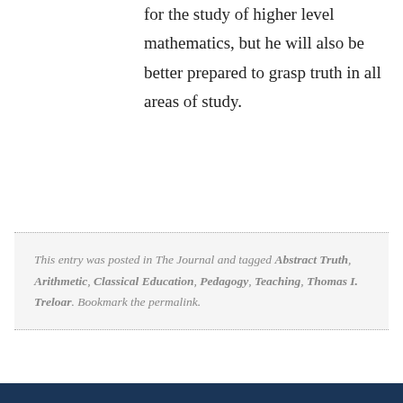for the study of higher level mathematics, but he will also be better prepared to grasp truth in all areas of study.
This entry was posted in The Journal and tagged Abstract Truth, Arithmetic, Classical Education, Pedagogy, Teaching, Thomas I. Treloar. Bookmark the permalink.